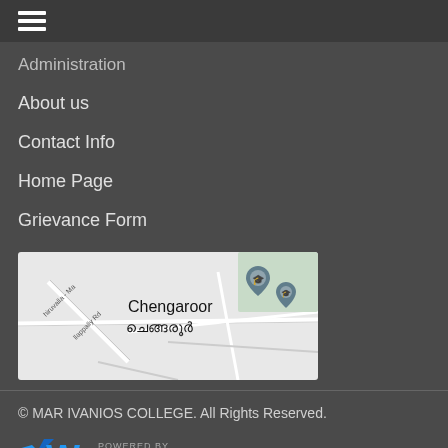Administration
About us
Contact Info
Home Page
Grievance Form
[Figure (map): Google map showing Chengaroor / ചെങ്ങരൂർ area with two educational institution pin markers and roads including Thiruvalla - Mallappally Rd]
© MAR IVANIOS COLLEGE. All Rights Reserved.
[Figure (logo): POWERED BY Weberge logo in blue and white]